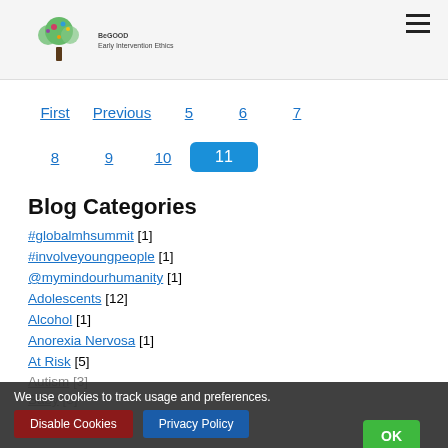BeGOOD Early Intervention Ethics logo
First  Previous  5  6  7
8  9  10  11
Blog Categories
#globalmhsummit [1]
#involveyoungpeople [1]
@mymindourhumanity [1]
Adolescents [12]
Alcohol [1]
Anorexia Nervosa [1]
At Risk [5]
Autism [3]
Baby [8]
We use cookies to track usage and preferences. OK | Disable Cookies | Privacy Policy